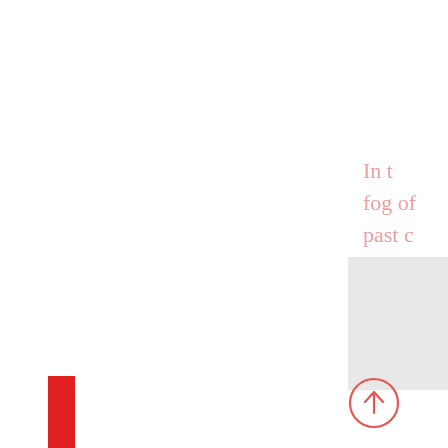In t fog of past c
[Figure (other): Light gray rectangular block in the lower right area of the page]
[Figure (other): Red upward arrow icon circle button in the lower right area]
[Figure (other): Red vertical rectangle strip in the bottom left corner]